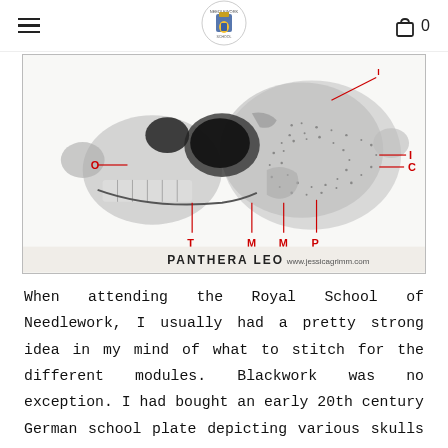≡  [logo]  🛍 0
[Figure (illustration): Black and white anatomical illustration of a lion skull (Panthera Leo) with labeled parts in red: O, T, M, M, P, I, C. Caption reads 'PANTHERA LEO' and 'www.jessicagrimm.com']
When attending the Royal School of Needlework, I usually had a pretty strong idea in my mind of what to stitch for the different modules. Blackwork was no exception. I had bought an early 20th century German school plate depicting various skulls a few years earlier. One of the skulls was that of a lion.